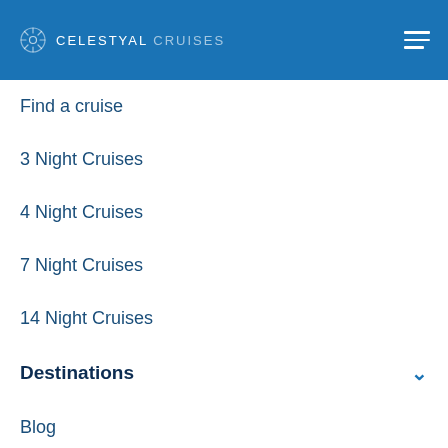CELESTYAL CRUISES
Find a cruise
3 Night Cruises
4 Night Cruises
7 Night Cruises
14 Night Cruises
Destinations
Blog
Mediterranean
Greece and the Greek Islands
Turkey